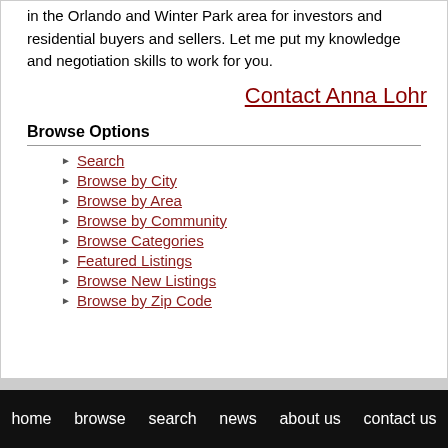in the Orlando and Winter Park area for investors and residential buyers and sellers. Let me put my knowledge and negotiation skills to work for you.
Contact Anna Lohr
Browse Options
Search
Browse by City
Browse by Area
Browse by Community
Browse Categories
Featured Listings
Browse New Listings
Browse by Zip Code
home  browse  search  news  about us  contact us